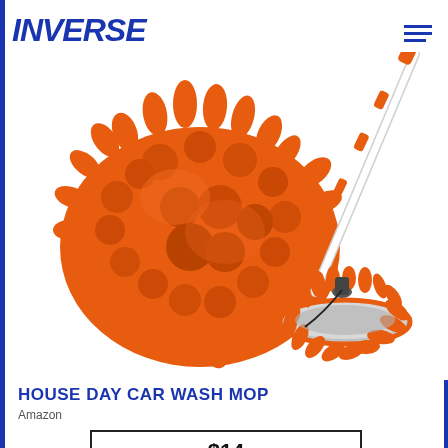INVERSE
[Figure (photo): Orange chenille car wash mop head shown close up on the left, and the full mop with extendable white and orange telescoping handle attached to a circular mop base with orange chenille head on the right, against a white background.]
HOUSE DAY CAR WASH MOP
Amazon
$14